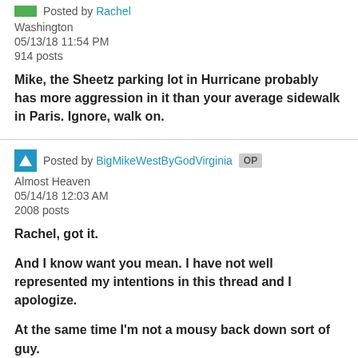Posted by Rachel
Washington
05/13/18 11:54 PM
914 posts
Mike, the Sheetz parking lot in Hurricane probably has more aggression in it than your average sidewalk in Paris. Ignore, walk on.
Posted by BigMikeWestByGodVirginia OP
Almost Heaven
05/14/18 12:03 AM
2008 posts
Rachel, got it.
And I know want you mean. I have not well represented my intentions in this thread and I apologize.
At the same time I'm not a mousy back down sort of guy.